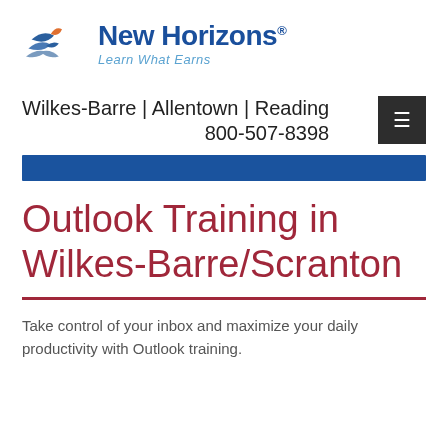[Figure (logo): New Horizons logo with stylized bird/wings icon in blue, gray, and orange, with text 'New Horizons' in dark blue bold font and tagline 'Learn What Earns' in italic light blue]
Wilkes-Barre | Allentown | Reading
800-507-8398
Outlook Training in Wilkes-Barre/Scranton
Take control of your inbox and maximize your daily productivity with Outlook training.